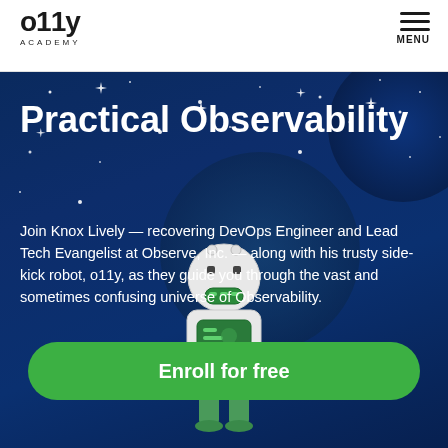o11y ACADEMY
Practical Observability
Join Knox Lively — recovering DevOps Engineer and Lead Tech Evangelist at Observe, Inc. — along with his trusty side-kick robot, o11y, as they guide you through the vast and sometimes confusing universe of Observability.
[Figure (illustration): Robot mascot character (o11y) standing on a dark blue starry space background with large circular globe shapes]
Enroll for free